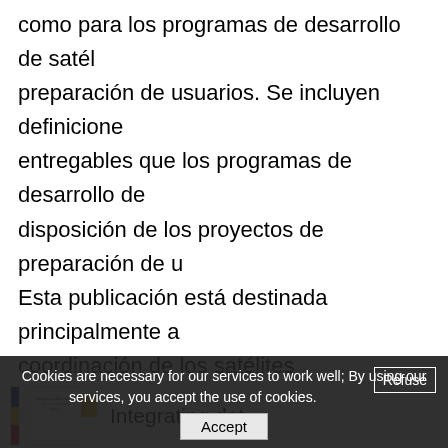como para los programas de desarrollo de satélites preparación de usuarios. Se incluyen definiciones entregables que los programas de desarrollo de disposición de los proyectos de preparación de u Esta publicación está destinada principalmente a coordinación de los satélites meteorológicos (GO
Spanish, English
[Figure (screenshot): Thumbnail image of a document titled 'Integrating data rescue into the classroom' with KARUS logo and a book icon]
Integrating dat...
Cookies are necessary for our services to work well; By using our services, you accept the use of cookies.